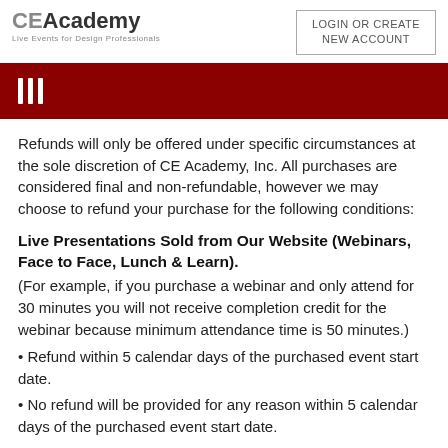CE Academy — Live Events for Design Professionals | LOGIN OR CREATE NEW ACCOUNT
Refunds will only be offered under specific circumstances at the sole discretion of CE Academy, Inc. All purchases are considered final and non-refundable, however we may choose to refund your purchase for the following conditions:
Live Presentations Sold from Our Website (Webinars, Face to Face, Lunch & Learn).
(For example, if you purchase a webinar and only attend for 30 minutes you will not receive completion credit for the webinar because minimum attendance time is 50 minutes.)
Refund within 5 calendar days of the purchased event start date.
No refund will be provided for any reason within 5 calendar days of the purchased event start date.